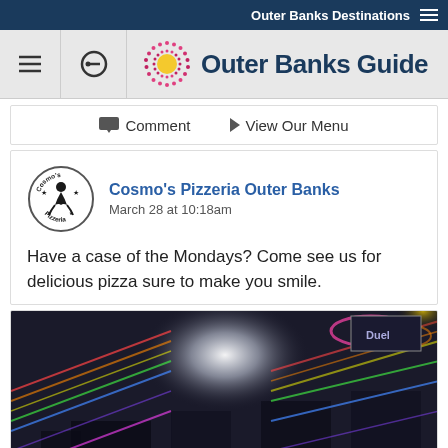Outer Banks Destinations
[Figure (logo): Outer Banks Guide logo with starburst/dots circle and text]
Comment   View Our Menu
[Figure (logo): Cosmo's Pizzeria circular logo with dancing figure and stars]
Cosmo's Pizzeria Outer Banks
March 28 at 10:18am
Have a case of the Mondays? Come see us for delicious pizza sure to make you smile.
[Figure (photo): Interior of a restaurant/pizzeria with colorful lighting effects and rainbow light streaks]